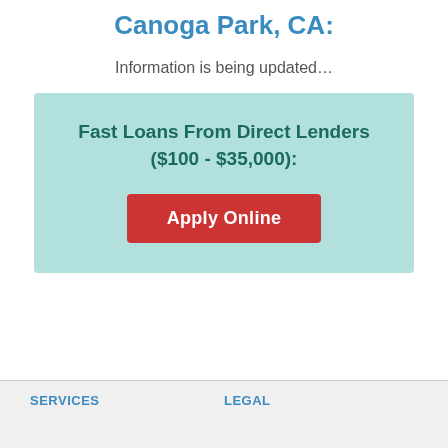Canoga Park, CA:
Information is being updated...
Fast Loans From Direct Lenders ($100 - $35,000):
Apply Online
SERVICES   LEGAL